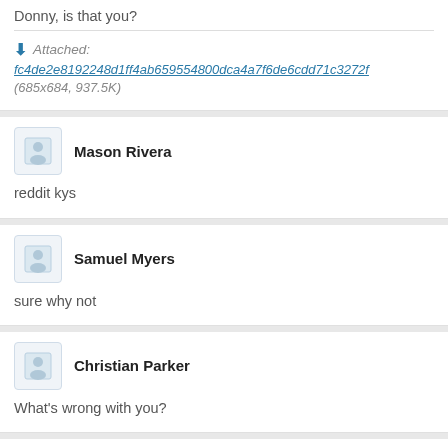Donny, is that you?
Attached: fc4de2e8192248d1ff4ab659554800dca4a7f6de6cdd71c3272f (685x684, 937.5K)
Mason Rivera
reddit kys
Samuel Myers
sure why not
Christian Parker
What's wrong with you?